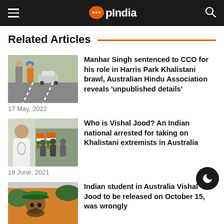OpIndia
Related Articles
[Figure (photo): Two men on a street, one in grey suit, one in blue turban, cars in background]
Manhar Singh sentenced to CCO for his role in Harris Park Khalistani brawl, Australian Hindu Association reveals ‘unpublished details’
17 May, 2022
[Figure (photo): Man in white t-shirt on left, group of people with Indian flags on right]
Who is Vishal Jood? An Indian national arrested for taking on Khalistani extremists in Australia
19 June, 2021
[Figure (photo): Man in green hat with orange background]
Indian student in Australia Vishal Jood to be released on October 15, was wrongly